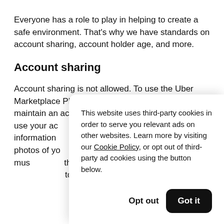Everyone has a role to play in helping to create a safe environment. That's why we have standards on account sharing, account holder age, and more.
Account sharing
Account sharing is not allowed. To use the Uber Marketplace Platform, you need to register and maintain an active account. Don't let another person use your ac… information… including b… photos of yo… Uber Marke… people mus… themselves… is picked up… to the Uber
This website uses third-party cookies in order to serve you relevant ads on other websites. Learn more by visiting our Cookie Policy, or opt out of third-party ad cookies using the button below.